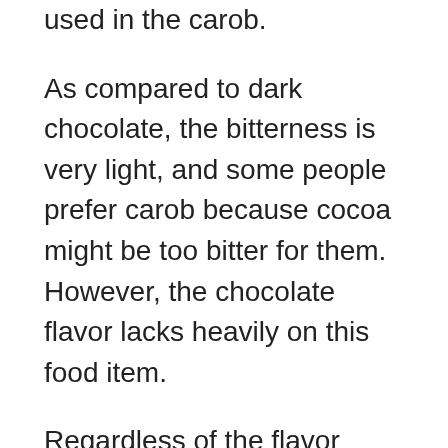used in the carob.
As compared to dark chocolate, the bitterness is very light, and some people prefer carob because cocoa might be too bitter for them. However, the chocolate flavor lacks heavily on this food item.
Regardless of the flavor being slightly different, the chocolate carob can replace the same in numerous recipes. The only difference that can be found between carob and chocolate while preparing the vegan recipes is the amount of time required for them to melt.
Cocoa butter that makes up half of the chocolate melts faster than carob. The reason being, the